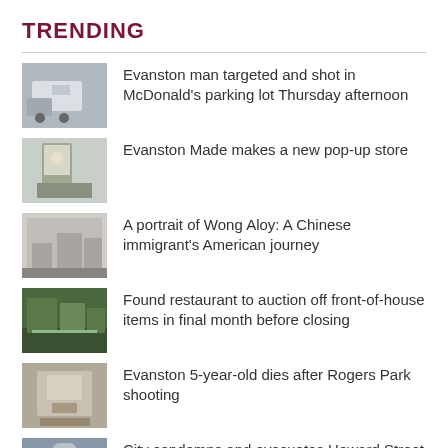TRENDING
Evanston man targeted and shot in McDonald's parking lot Thursday afternoon
Evanston Made makes a new pop-up store
A portrait of Wong Aloy: A Chinese immigrant's American journey
Found restaurant to auction off front-of-house items in final month before closing
Evanston 5-year-old dies after Rogers Park shooting
City condemns and evacuates Howard Street apartments, condition termed 'deplorable'
A portrait of Wong Aloy: A Chinese immigrant's